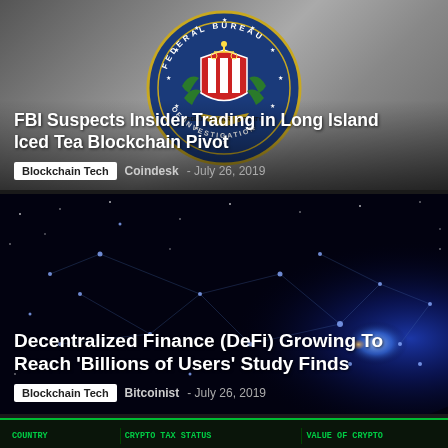[Figure (photo): FBI seal/badge against a gray concrete wall background, showing the circular blue FBI emblem with scales of justice]
FBI Suspects Insider Trading in Long Island Iced Tea Blockchain Pivot
Blockchain Tech   Coindesk - July 26, 2019
[Figure (photo): Dark space-like image showing a glowing blue network/galaxy visualization representing decentralized finance nodes and connections]
Decentralized Finance (DeFi) Growing To Reach 'Billions of Users' Study Finds
Blockchain Tech   Bitcoinist - July 26, 2019
[Figure (screenshot): Partial view of a data table showing country, crypto tax status, and value of crypto columns with green text on dark background]